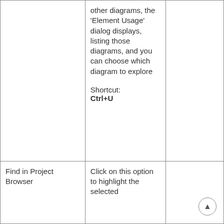|  |  |  |
| --- | --- | --- |
|  | other diagrams, the 'Element Usage' dialog displays, listing those diagrams, and you can choose which diagram to explore

Shortcut: Ctrl+U |  |
| Find in Project Browser | Click on this option to highlight the selected |  |